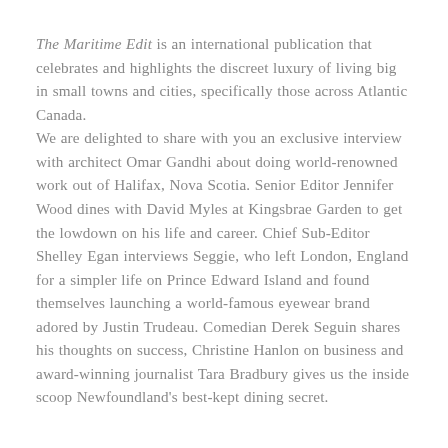The Maritime Edit is an international publication that celebrates and highlights the discreet luxury of living big in small towns and cities, specifically those across Atlantic Canada.
We are delighted to share with you an exclusive interview with architect Omar Gandhi about doing world-renowned work out of Halifax, Nova Scotia. Senior Editor Jennifer Wood dines with David Myles at Kingsbrae Garden to get the lowdown on his life and career. Chief Sub-Editor Shelley Egan interviews Seggie, who left London, England for a simpler life on Prince Edward Island and found themselves launching a world-famous eyewear brand adored by Justin Trudeau. Comedian Derek Seguin shares his thoughts on success, Christine Hanlon on business and award-winning journalist Tara Bradbury gives us the inside scoop Newfoundland's best-kept dining secret.